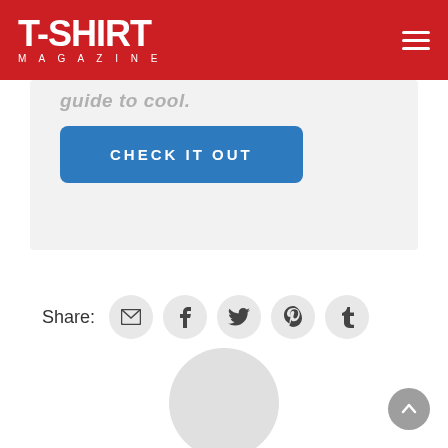T-SHIRT MAGAZINE
guide to cool.
CHECK IT OUT
Share:
[Figure (other): Social sharing icons: email, facebook, twitter, pinterest, tumblr]
[Figure (other): Avatar placeholder circle and back-to-top button]